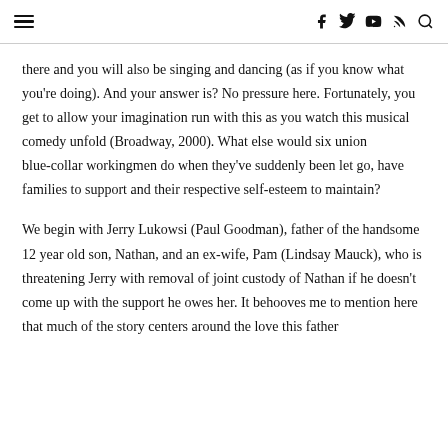≡  f  Twitter  YouTube  RSS  Search
there and you will also be singing and dancing (as if you know what you're doing). And your answer is? No pressure here. Fortunately, you get to allow your imagination run with this as you watch this musical comedy unfold (Broadway, 2000). What else would six union blue-collar workingmen do when they've suddenly been let go, have families to support and their respective self-esteem to maintain?
We begin with Jerry Lukowsi (Paul Goodman), father of the handsome 12 year old son, Nathan, and an ex-wife, Pam (Lindsay Mauck), who is threatening Jerry with removal of joint custody of Nathan if he doesn't come up with the support he owes her. It behooves me to mention here that much of the story centers around the love this father